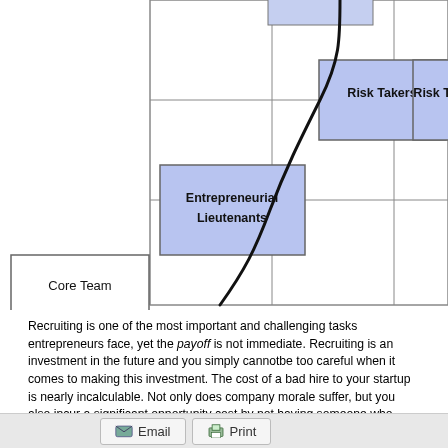[Figure (organizational-chart): Partial organizational/matrix chart showing labeled boxes: 'Risk Takers' (two instances, upper right area), 'Entrepreneurial Lieutenants' (middle left), 'Core Team' (lower left), with grid lines and an S-curve drawn across the chart.]
Recruiting is one of the most important and challenging tasks entrepreneurs face, yet the payoff is not immediate. Recruiting is an investment in the future and you simply cannot be too careful when it comes to making this investment. The cost of a bad hire to your startup is nearly incalculable. Not only does company morale suffer, but you also incur a significant opportunity cost by not having someone who could take full advantage of your adVenture's market opportunities.
Email  Print